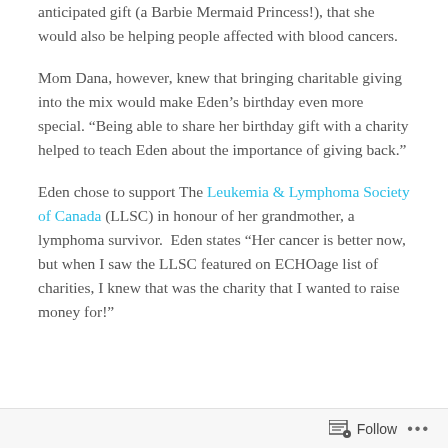anticipated gift (a Barbie Mermaid Princess!), that she would also be helping people affected with blood cancers.
Mom Dana, however, knew that bringing charitable giving into the mix would make Eden’s birthday even more special. “Being able to share her birthday gift with a charity helped to teach Eden about the importance of giving back.”
Eden chose to support The Leukemia & Lymphoma Society of Canada (LLSC) in honour of her grandmother, a lymphoma survivor.  Eden states “Her cancer is better now, but when I saw the LLSC featured on ECHOage list of charities, I knew that was the charity that I wanted to raise money for!”
Follow